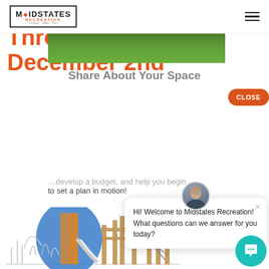Midstates Recreation — navigation header with logo and hamburger menu
[Figure (photo): Green grass lawn photo strip]
Share About Your Space
Playground Sale Through December 2nd
CLOSE
to set a plan in motion!
[Figure (illustration): Pencil sketch illustration of a playground structure with slide, wooden frame, and climbing elements]
[Figure (photo): Chat widget popup with avatar photo of a man, showing welcome message: Hi! Welcome to Midstates Recreation! What questions can we answer for you today?]
Hi! Welcome to Midstates Recreation! What questions can we answer for you today?